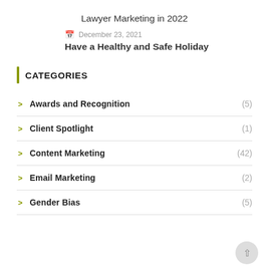Lawyer Marketing in 2022
December 23, 2021
Have a Healthy and Safe Holiday
CATEGORIES
Awards and Recognition (5)
Client Spotlight (1)
Content Marketing (42)
Email Marketing (2)
Gender Bias (5)